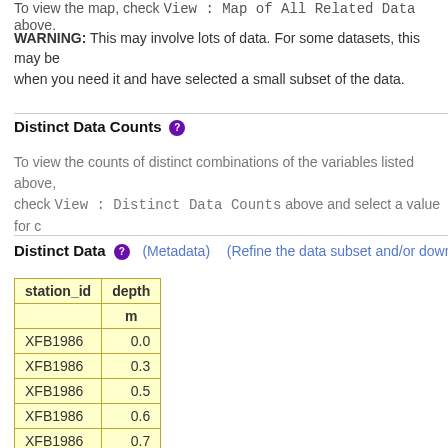To view the map, check View : Map of All Related Data above.
WARNING: This may involve lots of data. For some datasets, this may be when you need it and have selected a small subset of the data.
Distinct Data Counts
To view the counts of distinct combinations of the variables listed above, check View : Distinct Data Counts above and select a value for c
Distinct Data
| station_id | depth
m |
| --- | --- |
| XFB1986 | 0.0 |
| XFB1986 | 0.3 |
| XFB1986 | 0.5 |
| XFB1986 | 0.6 |
| XFB1986 | 0.7 |
| XFB1986 | 0.8 |
| XFB1986 | 0.9 |